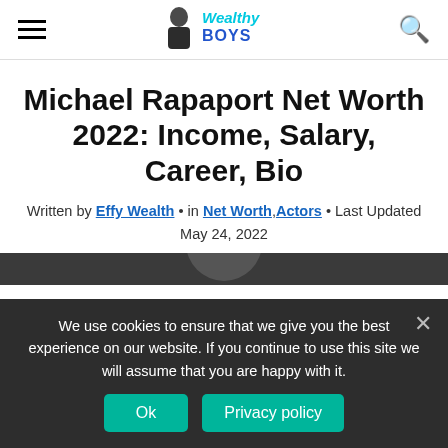Wealthy Boys [logo/navigation header]
Michael Rapaport Net Worth 2022: Income, Salary, Career, Bio
Written by Effy Wealth • in Net Worth, Actors • Last Updated May 24, 2022
[Figure (photo): Partial photo strip of Michael Rapaport visible at bottom of content area]
We use cookies to ensure that we give you the best experience on our website. If you continue to use this site we will assume that you are happy with it.
Ok  Privacy policy